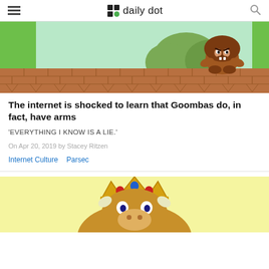daily dot
[Figure (illustration): Mario-style Goomba character with arms folded, standing on a brick platform with green background and bushes]
The internet is shocked to learn that Goombas do, in fact, have arms
'EVERYTHING I KNOW IS A LIE.'
On Apr 20, 2019 by Stacey Ritzen
Internet Culture   Parsec
[Figure (illustration): Bowser character with crown showing at bottom of page, yellow background]